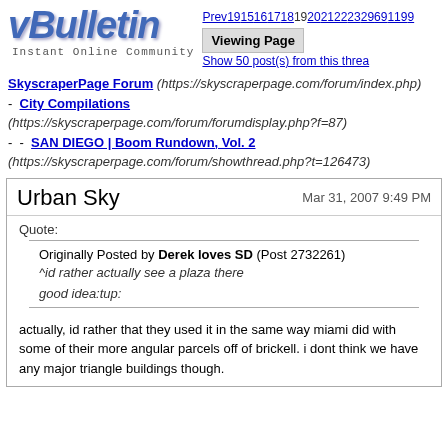vBulletin - Instant Online Community - Prev 19 15 16 17 18 19 20 21 22 23 29 69 119... Viewing Page - Show 50 post(s) from this thread
SkyscraperPage Forum (https://skyscraperpage.com/forum/index.php) - City Compilations (https://skyscraperpage.com/forum/forumdisplay.php?f=87) - - SAN DIEGO | Boom Rundown, Vol. 2 (https://skyscraperpage.com/forum/showthread.php?t=126473)
Urban Sky - Mar 31, 2007 9:49 PM
Quote:
Originally Posted by Derek loves SD (Post 2732261)
^id rather actually see a plaza there

good idea:tup:

actually, id rather that they used it in the same way miami did with some of their more angular parcels off of brickell. i dont think we have any major triangle buildings though.